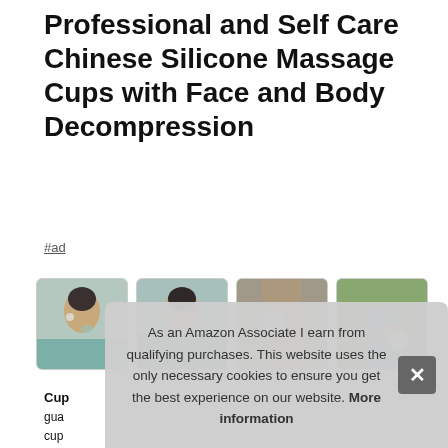Professional and Self Care Chinese Silicone Massage Cups with Face and Body Decompression
#ad
[Figure (photo): Gallery of four product-use photos: woman applying silicone cup to face near eye (beach background), woman applying cup near nose (beach background), muscular arm with cup applied to skin, person applying cup to knee outdoors.]
Cup
gua... cup... phy... Est...
As an Amazon Associate I earn from qualifying purchases. This website uses the only necessary cookies to ensure you get the best experience on our website. More information